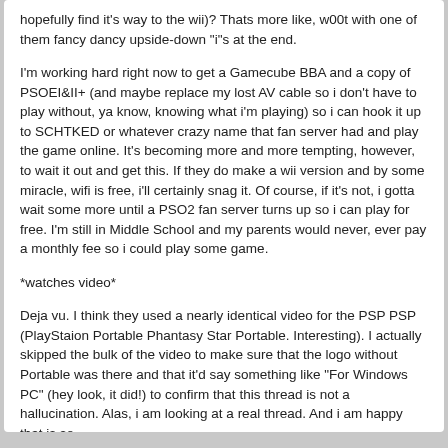hopefully find it's way to the wii)? Thats more like, w00t with one of them fancy dancy upside-down "i"s at the end.
I'm working hard right now to get a Gamecube BBA and a copy of PSOEI&II+ (and maybe replace my lost AV cable so i don't have to play without, ya know, knowing what i'm playing) so i can hook it up to SCHTKED or whatever crazy name that fan server had and play the game online. It's becoming more and more tempting, however, to wait it out and get this. If they do make a wii version and by some miracle, wifi is free, i'll certainly snag it. Of course, if it's not, i gotta wait some more until a PSO2 fan server turns up so i can play for free. I'm still in Middle School and my parents would never, ever pay a monthly fee so i could play some game.
*watches video*
Deja vu. I think they used a nearly identical video for the PSP PSP (PlayStaion Portable Phantasy Star Portable. Interesting). I actually skipped the bulk of the video to make sure that the logo without Portable was there and that it'd say something like "For Windows PC" (hey look, it did!) to confirm that this thread is not a hallucination. Alas, i am looking at a real thread. And i am happy that is so.